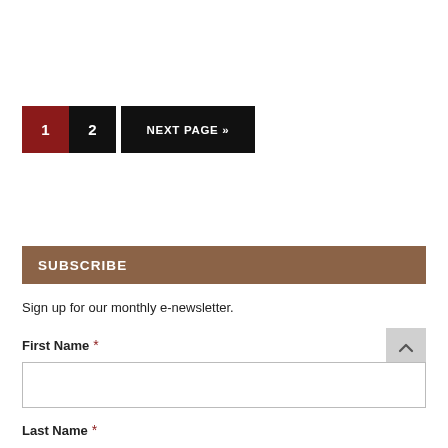1  2  NEXT PAGE »
SUBSCRIBE
Sign up for our monthly e-newsletter.
First Name  *
Last Name  *